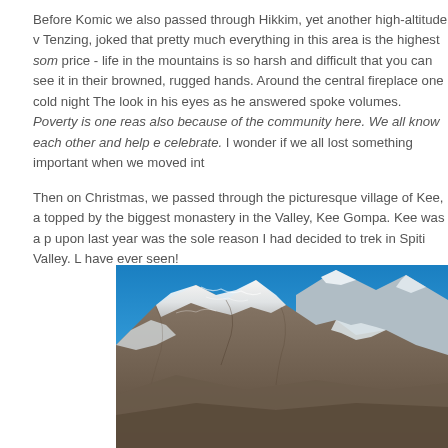Before Komic we also passed through Hikkim, yet another high-altitude v... Tenzing, joked that pretty much everything in this area is the highest som... price - life in the mountains is so harsh and difficult that you can see it in their browned, rugged hands. Around the central fireplace one cold night... The look in his eyes as he answered spoke volumes. Poverty is one reas... also because of the community here. We all know each other and help e... celebrate. I wonder if we all lost something important when we moved int...
Then on Christmas, we passed through the picturesque village of Kee, a... topped by the biggest monastery in the Valley, Kee Gompa. Kee was a p... upon last year was the sole reason I had decided to trek in Spiti Valley. L... have ever seen!
[Figure (photo): Snow-capped mountain range under a bright blue sky, with rugged rocky and snowy peaks visible. The image is cropped showing the lower portion cut off at the bottom edge.]